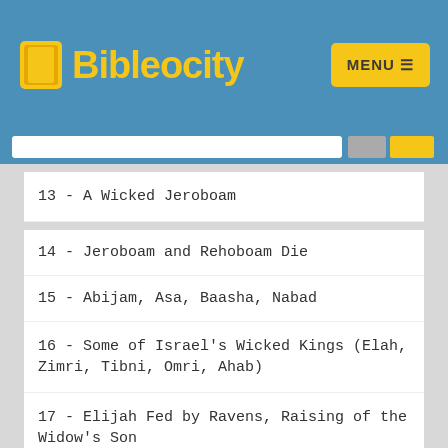Bibleocity
13 - A Wicked Jeroboam
14 - Jeroboam and Rehoboam Die
15 - Abijam, Asa, Baasha, Nabad
16 - Some of Israel's Wicked Kings (Elah, Zimri, Tibni, Omri, Ahab)
17 - Elijah Fed by Ravens, Raising of the Widow's Son
18 - Elijah vs. Baal (Mt. Carmel)
19 - Elijah & Still, Small Voice